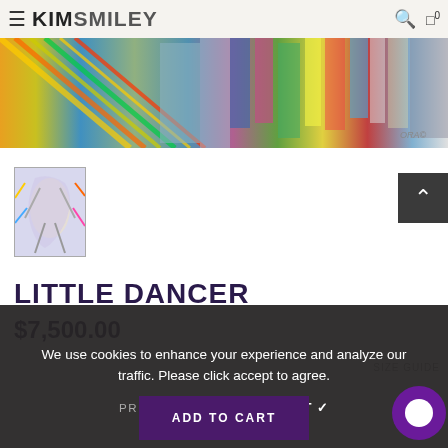KIM SMILEY
[Figure (photo): Colorful artwork/painting showing hanging quilts or fabric pieces with vivid colors including orange, yellow, green, blue, red, and purple]
[Figure (photo): Small thumbnail image of a painting showing a dancer with colorful flowing fabric]
LITTLE DANCER
$7,500.00
We use cookies to enhance your experience and analyze our traffic. Please click accept to agree.
PRIVACY POLICY   ACCEPT ✓
SIZE GUIDE
ADD TO CART